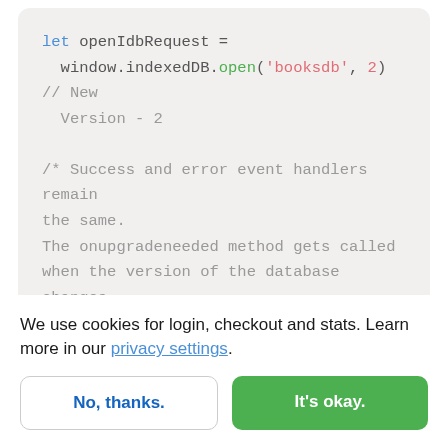[Figure (screenshot): Code block showing JavaScript: let openIdbRequest = window.indexedDB.open('booksdb', 2) // New Version - 2

/* Success and error event handlers remain the same.
The onupgradeneeded method gets called when the version of the database changes.]
We use cookies for login, checkout and stats. Learn more in our privacy settings.